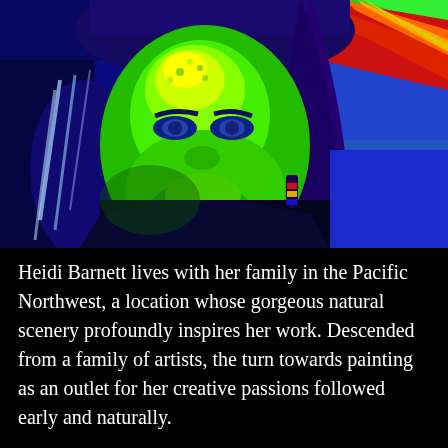[Figure (photo): A psychedelic/thermal-filter portrait photo of a woman with long hair and colorful beaded earrings. Her face is rendered in neon green and yellow tones, her hair in blue and white. The background features diagonal red and orange stripes on the right and a bright blue-green area. Overall color palette is vivid neon: blue, green, yellow, red, orange.]
Heidi Barnett lives with her family in the Pacific Northwest, a location whose gorgeous natural scenery profoundly inspires her work. Descended from a family of artists, the turn towards painting as an outlet for her creative passions followed early and naturally.